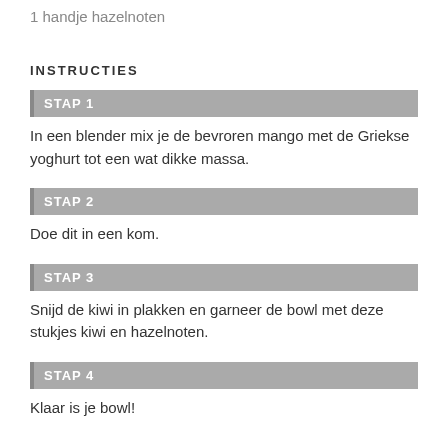1 handje hazelnoten
INSTRUCTIES
STAP 1
In een blender mix je de bevroren mango met de Griekse yoghurt tot een wat dikke massa.
STAP 2
Doe dit in een kom.
STAP 3
Snijd de kiwi in plakken en garneer de bowl met deze stukjes kiwi en hazelnoten.
STAP 4
Klaar is je bowl!